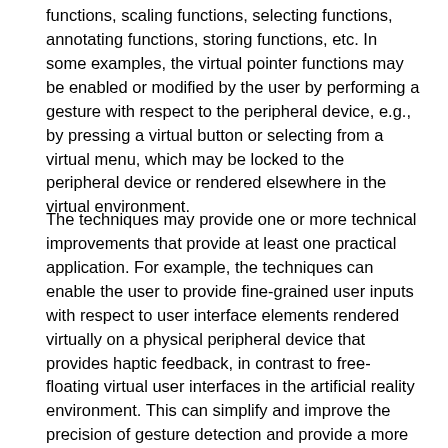functions, scaling functions, selecting functions, annotating functions, storing functions, etc. In some examples, the virtual pointer functions may be enabled or modified by the user by performing a gesture with respect to the peripheral device, e.g., by pressing a virtual button or selecting from a virtual menu, which may be locked to the peripheral device or rendered elsewhere in the virtual environment.
The techniques may provide one or more technical improvements that provide at least one practical application. For example, the techniques can enable the user to provide fine-grained user inputs with respect to user interface elements rendered virtually on a physical peripheral device that provides haptic feedback, in contrast to free-floating virtual user interfaces in the artificial reality environment. This can simplify and improve the precision of gesture detection and provide a more pleasing user experience. In addition, the peripheral device may not display the user interface elements at its own display and may not even include a display. The techniques may therefore additionally reduce power consumption and simplify AR applications by eliminating a separate